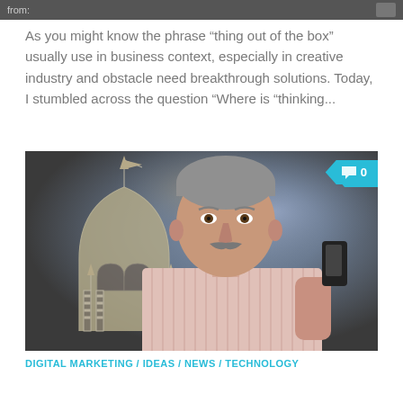from:
As you might know the phrase “thing out of the box” usually use in business context, especially in creative industry and obstacle need breakthrough solutions. Today, I stumbled across the question “Where is “thinking...
[Figure (photo): A middle-aged man with grey hair and a moustache, wearing a pink striped shirt, holding a small black device in his right hand. In the background there is a stylized architectural illustration resembling a dome or tower. A cyan comment badge showing '0' appears in the top-right corner of the image.]
DIGITAL MARKETING / IDEAS / NEWS / TECHNOLOGY